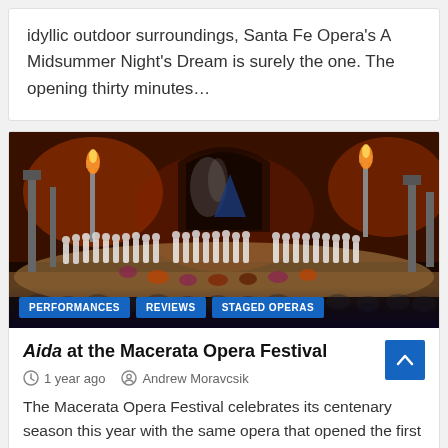idyllic outdoor surroundings, Santa Fe Opera's A Midsummer Night's Dream is surely the one. The opening thirty minutes…
[Figure (photo): Opera stage scene from Aida at the Macerata Opera Festival, showing a large cast of performers in white costumes on a grand outdoor stage with dramatic lighting, torches, and large set pieces against a dark brick backdrop.]
PERFORMANCES   REVIEWS   STAGED OPERAS
Aida at the Macerata Opera Festival
1 year ago   Andrew Moravcsik
The Macerata Opera Festival celebrates its centenary season this year with the same opera that opened the first